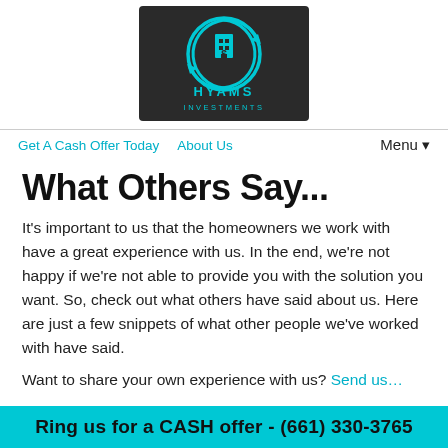[Figure (logo): Hyams Investments logo — circular emblem with building/document icon in teal on dark background, text HYAMS INVESTMENTS below]
Get A Cash Offer Today   About Us   Menu▾
What Others Say...
It's important to us that the homeowners we work with have a great experience with us. In the end, we're not happy if we're not able to provide you with the solution you want. So, check out what others have said about us. Here are just a few snippets of what other people we've worked with have said.
Want to share your own experience with us? Send us…
Ring us for a CASH offer - (661) 330-3765